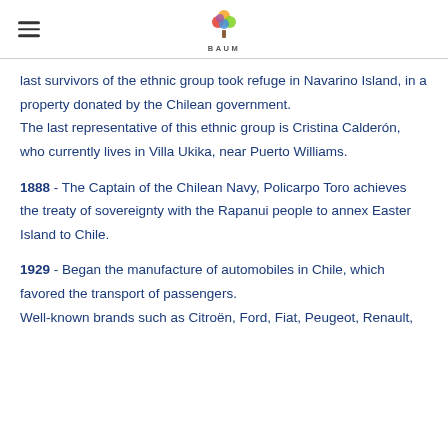BAUM [logo]
last survivors of the ethnic group took refuge in Navarino Island, in a property donated by the Chilean government. The last representative of this ethnic group is Cristina Calderón, who currently lives in Villa Ukika, near Puerto Williams.
1888 - The Captain of the Chilean Navy, Policarpo Toro achieves the treaty of sovereignty with the Rapanui people to annex Easter Island to Chile.
1929 - Began the manufacture of automobiles in Chile, which favored the transport of passengers.
Well-known brands such as Citroën, Ford, Fiat, Peugeot, Renault,